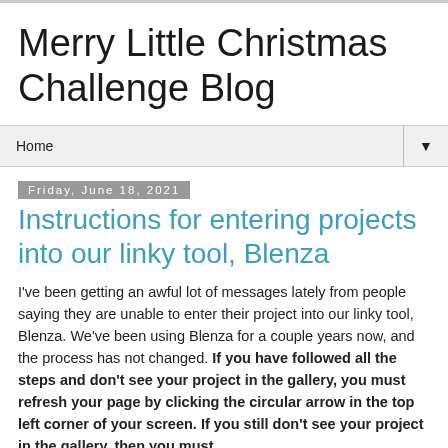Merry Little Christmas Challenge Blog
Home
Friday, June 18, 2021
Instructions for entering projects into our linky tool, Blenza
I've been getting an awful lot of messages lately from people saying they are unable to enter their project into our linky tool, Blenza. We've been using Blenza for a couple years now, and the process has not changed. If you have followed all the steps and don’t see your project in the gallery, you must refresh your page by clicking the circular arrow in the top left corner of your screen. If you still don’t see your project in the gallery, then you must